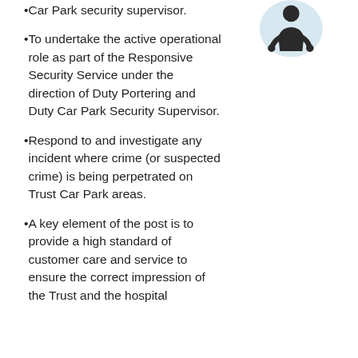Car Park security supervisor.
[Figure (illustration): Illustration of a security officer/camera icon, dark figure on light blue circular background]
To undertake the active operational role as part of the Responsive Security Service under the direction of Duty Portering and Duty Car Park Security Supervisor.
Respond to and investigate any incident where crime (or suspected crime) is being perpetrated on Trust Car Park areas.
A key element of the post is to provide a high standard of customer care and service to ensure the correct impression of the Trust and the hospital
We use cookies on our website to give you the most relevant experience by remembering your preferences and repeat visits. By clicking “Accept”, you consent to the use of ALL the cookies.
Cookie settings | ACCEPT